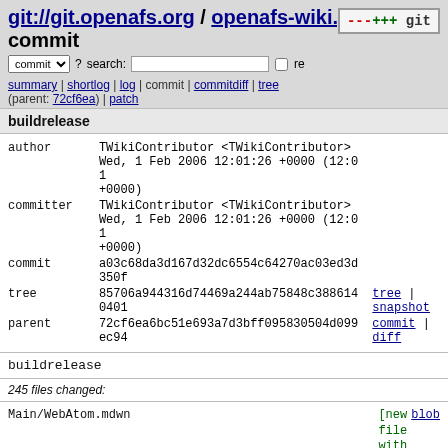git://git.openafs.org / openafs-wiki.git / commit
summary | shortlog | log | commit | commitdiff | tree (parent: 72cf6ea) | patch
buildrelease
| field | value | links |
| --- | --- | --- |
| author | TWikiContributor <TWikiContributor> |  |
|  | Wed, 1 Feb 2006 12:01:26 +0000 (12:01 +0000) |  |
| committer | TWikiContributor <TWikiContributor> |  |
|  | Wed, 1 Feb 2006 12:01:26 +0000 (12:01 +0000) |  |
| commit | a03c68da3d167d32dc6554c64270ac03ed3d350f |  |
| tree | 85706a944316d74469a244ab75848c3886140401 | tree | snapshot |
| parent | 72cf6ea6bc51e693a7d3bff095830504d099ec94 | commit | diff |
buildrelease
245 files changed:
Main/WebAtom.mdwn [new file with ...] blob